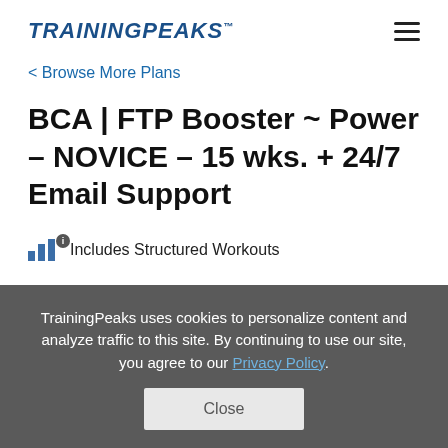TRAININGPEAKS
< Browse More Plans
BCA | FTP Booster ~ Power – NOVICE – 15 wks. + 24/7 Email Support
Includes Structured Workouts
TrainingPeaks uses cookies to personalize content and analyze traffic to this site. By continuing to use our site, you agree to our Privacy Policy.
Close